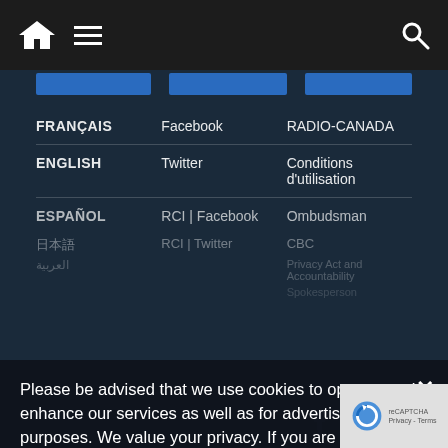Navigation bar with home icon, menu icon, search icon
FRANÇAIS
Facebook
RADIO-CANADA
ENGLISH
Twitter
Conditions d'utilisation
ESPAÑOL
RCI | Facebook
Ombudsman
日本語
RCI | Twitter
CBC
العربية
Privacy Act and Accountability
Spokesperson
Please be advised that we use cookies to operate and enhance our services as well as for advertising purposes. We value your privacy. If you are not comfortable with us using this information, please review your settings before continuing your visit.
Manage your navigation settings
Find out more